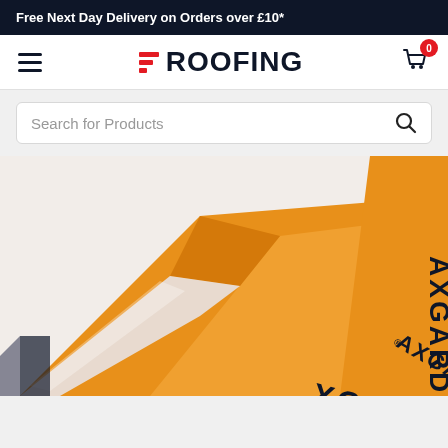Free Next Day Delivery on Orders over £10*
[Figure (logo): EZ Roofing logo with red horizontal bars and dark navy text reading ROOFING]
[Figure (screenshot): Search bar with placeholder text 'Search for Products' and a magnifying glass icon on the right]
[Figure (photo): Close-up photo of orange AXGARD branded polycarbonate roofing sheet product, showing the orange protective film being peeled back to reveal clear sheet beneath]